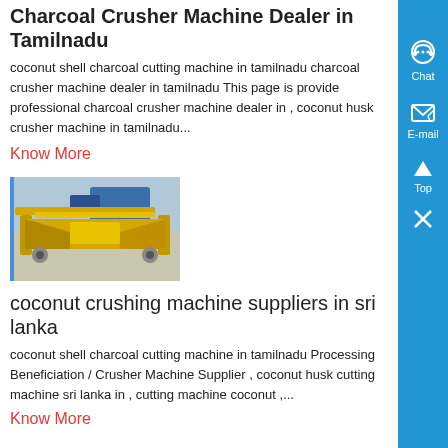Charcoal Crusher Machine Dealer in Tamilnadu
coconut shell charcoal cutting machine in tamilnadu charcoal crusher machine dealer in tamilnadu This page is provide professional charcoal crusher machine dealer in , coconut husk crusher machine in tamilnadu...
Know More
[Figure (photo): Yellow industrial coconut/charcoal crusher machine on a factory floor]
coconut crushing machine suppliers in sri lanka
coconut shell charcoal cutting machine in tamilnadu Processing Beneficiation / Crusher Machine Supplier , coconut husk cutting machine sri lanka in , cutting machine coconut ,...
Know More